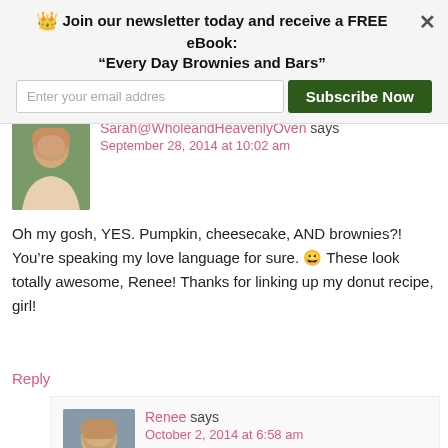Join our newsletter today and receive a FREE eBook: "Every Day Brownies and Bars"
Enter your email addres
Subscribe Now
Sarah@WholeandHeavenlyOven says
September 28, 2014 at 10:02 am
[Figure (photo): Profile photo of Sarah, a young woman outdoors]
Oh my gosh, YES. Pumpkin, cheesecake, AND brownies?! You’re speaking my love language for sure. 😀 These look totally awesome, Renee! Thanks for linking up my donut recipe, girl!
Reply
[Figure (photo): Profile photo of Renee, a woman with blonde hair smiling]
Renee says
October 2, 2014 at 6:58 am